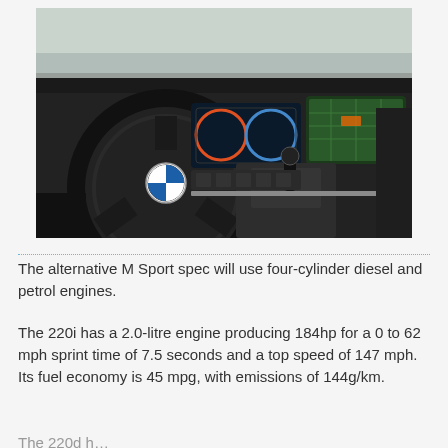[Figure (photo): BMW interior showing the steering wheel with BMW logo, digital instrument cluster, center infotainment touchscreen with navigation map, gear shifter, and center console controls]
The alternative M Sport spec will use four-cylinder diesel and petrol engines.
The 220i has a 2.0-litre engine producing 184hp for a 0 to 62 mph sprint time of 7.5 seconds and a top speed of 147 mph. Its fuel economy is 45 mpg, with emissions of 144g/km.
The 220d has a...